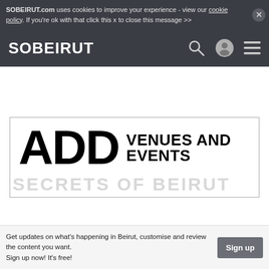SOBEIRUT.com uses cookies to improve your experience - view our cookie policy. If you're ok with that click this x to close this message >>
[Figure (logo): SOBEIRUT website navigation bar with logo, search icon, user icon, and hamburger menu on dark grey background]
[Figure (infographic): White content area with bordered box showing 'ADD VENUES AND EVENTS' banner text, and 'SECRETS OF BEIRUT' watermark text below]
Get updates on what's happening in Beirut, customise and review the content you want.
Sign up now! It's free!